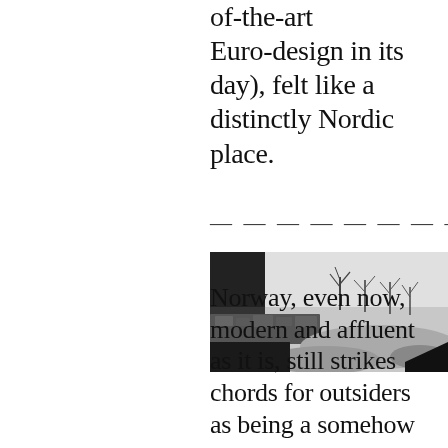of-the-art Euro-design in its day), felt like a distinctly Nordic place.
[Figure (photo): Black and white panoramic photograph of a snowy Nordic landscape with bare trees and a stone building on the left.]
Norway, even now, modern and affluent as it is, still strikes chords for outsiders as being a somehow medieval landscape of snow and ice. When we visited their national art gallery, it was